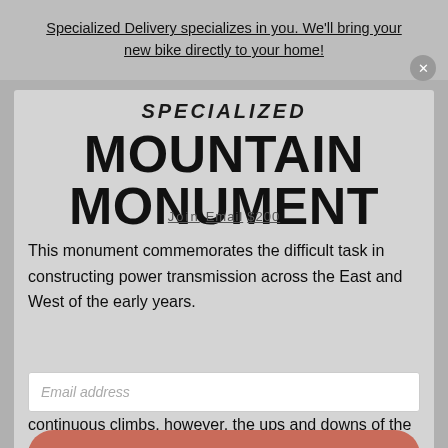Specialized Delivery specializes in you. We'll bring your new bike directly to your home!
[Figure (screenshot): Specialized brand logo in italic bold uppercase text]
MOUNTAIN MONUMENT
Join us · Email · $200
This monument commemorates the difficult task in constructing power transmission across the East and West of the early years.
Email address (input field)
Whole journey (CTA button)
We took a quick break from the torture of the continuous climbs, however, the ups and downs of the circuitous routes didn't make the whole journey easier. The altitude came to be more than two thousand at this point, holding two seconds of breaths to take a sip of water will easily